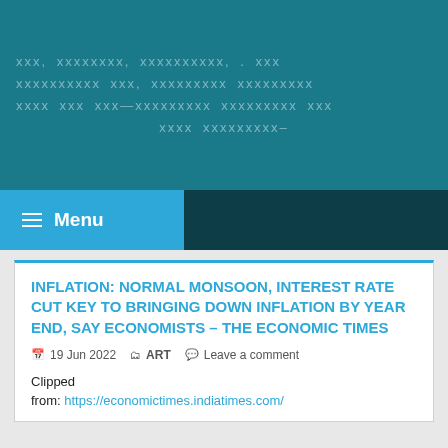[Figure (other): Website header with teal background and decorative X pattern text overlay]
Menu
INFLATION: NORMAL MONSOON, INTEREST RATE CUT KEY TO BRINGING DOWN INFLATION BY YEAR END, SAY ECONOMISTS – THE ECONOMIC TIMES
19 Jun 2022  ART  Leave a comment
Clipped from: https://economictimes.indiatimes.com/